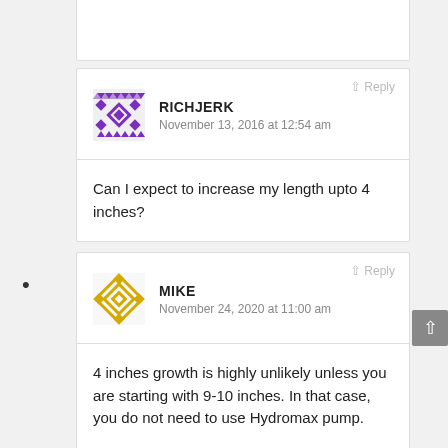RICHJERK
November 13, 2016 at 12:54 am
Can I expect to increase my length upto 4 inches?
MIKE
November 24, 2020 at 11:00 am
4 inches growth is highly unlikely unless you are starting with 9-10 inches. In that case, you do not need to use Hydromax pump.